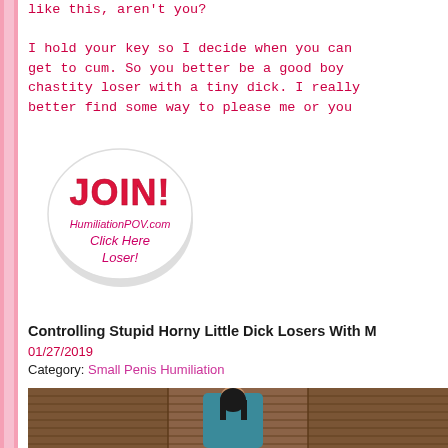like this, aren't you?

I hold your key so I decide when you can get to cum. So you better be a good boy chastity loser with a tiny dick. I really better find some way to please me or you
[Figure (illustration): Round button graphic with text 'JOIN! HumiliationPOV.com Click Here Loser!' in red on white background]
Controlling Stupid Horny Little Dick Losers With M
01/27/2019
Category: Small Penis Humiliation
[Figure (photo): Woman with long dark hair wearing a teal/turquoise top, smiling, standing in front of wooden shutters/blinds]